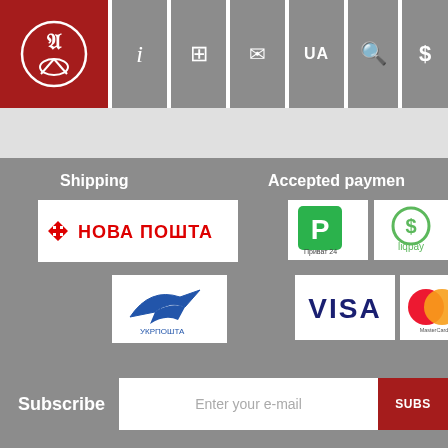[Figure (screenshot): Website navigation header with logo (red background with white figure) and gray icon buttons: i, book, envelope, UA, search, dollar sign]
Shipping
[Figure (logo): Nova Poshta (НОВА ПОШТА) shipping logo - red text with cross/arrows icon on white background]
[Figure (logo): Ukrposhta (Укрпошта) shipping logo - blue airplane/bird icon on white background]
Accepted payment
[Figure (logo): Privat24 payment logo - green square with P icon]
[Figure (logo): LiqPay payment logo - green dollar sign circle with liqpay text]
[Figure (logo): VISA payment logo - blue VISA text on white background]
[Figure (logo): MasterCard payment logo - overlapping red and yellow circles]
Subscribe
Enter your e-mail
SUBS